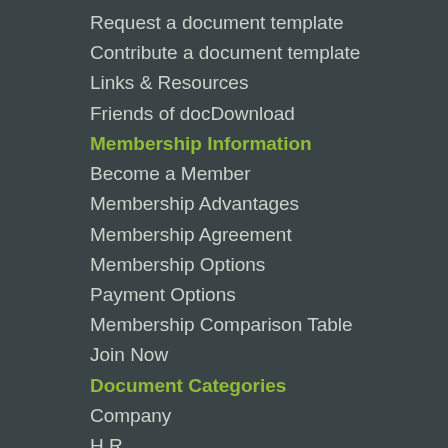Request a document template
Contribute a document template
Links & Resources
Friends of docDownload
Membership Information
Become a Member
Membership Advantages
Membership Agreement
Membership Options
Payment Options
Membership Comparison Table
Join Now
Document Categories
Company
H.R.
I.T.
Legal
Marketing
Projects